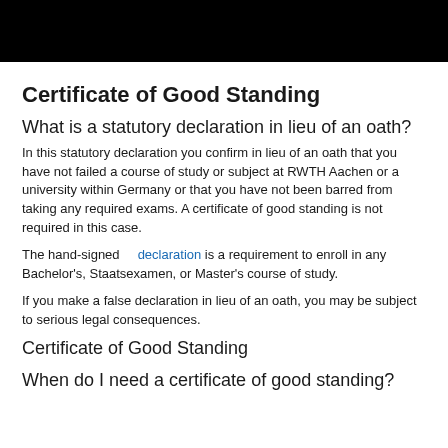Certificate of Good Standing
What is a statutory declaration in lieu of an oath?
In this statutory declaration you confirm in lieu of an oath that you have not failed a course of study or subject at RWTH Aachen or a university within Germany or that you have not been barred from taking any required exams. A certificate of good standing is not required in this case.
The hand-signed declaration is a requirement to enroll in any Bachelor's, Staatsexamen, or Master's course of study.
If you make a false declaration in lieu of an oath, you may be subject to serious legal consequences.
Certificate of Good Standing
When do I need a certificate of good standing?